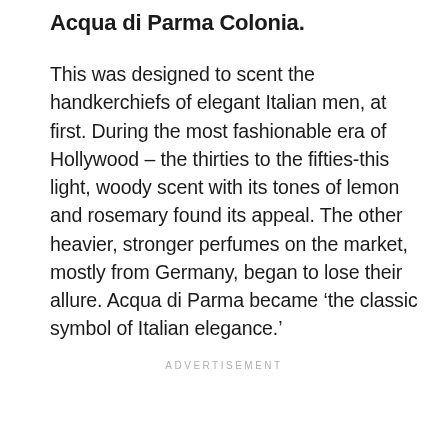Acqua di Parma Colonia.
This was designed to scent the handkerchiefs of elegant Italian men, at first. During the most fashionable era of Hollywood – the thirties to the fifties-this light, woody scent with its tones of lemon and rosemary found its appeal. The other heavier, stronger perfumes on the market, mostly from Germany, began to lose their allure. Acqua di Parma became ‘the classic symbol of Italian elegance.’
ADVERTISEMENT